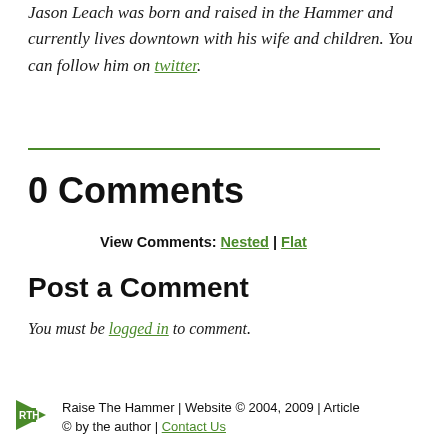Jason Leach was born and raised in the Hammer and currently lives downtown with his wife and children. You can follow him on twitter.
0 Comments
View Comments: Nested | Flat
Post a Comment
You must be logged in to comment.
Raise The Hammer | Website © 2004, 2009 | Article © by the author | Contact Us